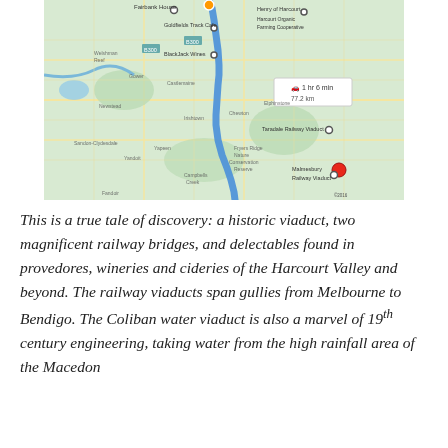[Figure (map): Google Maps route map showing a driving route of 1 hr 6 min / 77.2 km, passing through locations including Fairbank House, Goldfields Track Cafe, Henry of Harcourt, Harcourt Organic Farming Cooperative, BlackJack Wines, Taradale Railway Viaduct, and ending at Malmesbury Railway Viaduct. The route is shown as a blue line.]
This is a true tale of discovery: a historic viaduct, two magnificent railway bridges, and delectables found in provedores, wineries and cideries of the Harcourt Valley and beyond. The railway viaducts span gullies from Melbourne to Bendigo. The Coliban water viaduct is also a marvel of 19th century engineering, taking water from the high rainfall area of the Macedon